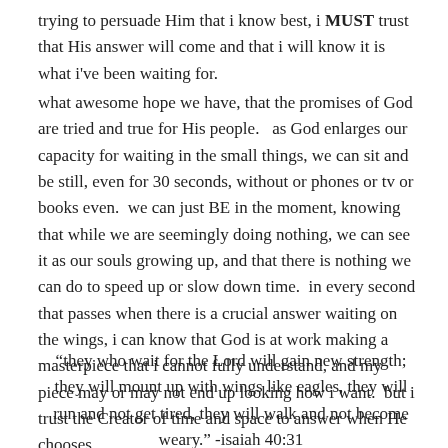trying to persuade Him that i know best, i MUST trust that His answer will come and that i will know it is what i've been waiting for.
what awesome hope we have, that the promises of God are tried and true for His people.   as God enlarges our capacity for waiting in the small things, we can sit and be still, even for 30 seconds, without or phones or tv or books even.  we can just BE in the moment, knowing that while we are seemingly doing nothing, we can see it as our souls growing up, and that there is nothing we can do to speed up or slow down time.  in every second that passes when there is a crucial answer waiting on the wings, i can know that God is at work making a masterpiece that i cannot fully understand, and my piece may or may not end up looking how i want.  but i trust the Creator of time and space to answer when He chooses.
“they who wait for the Lord will gain new strength; they will mount up with wings like eagles, they will run and not get tired, they will walk and not become weary.” -isaiah 40:31